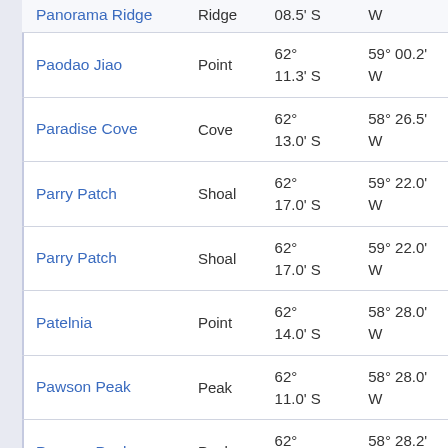| Name | Type | Latitude | Longitude |
| --- | --- | --- | --- |
| Panorama Ridge | Ridge | 08.5' S | W |
| Paodao Jiao | Point | 62° 11.3' S | 59° 00.2' W |
| Paradise Cove | Cove | 62° 13.0' S | 58° 26.5' W |
| Parry Patch | Shoal | 62° 17.0' S | 59° 22.0' W |
| Parry Patch | Shoal | 62° 17.0' S | 59° 22.0' W |
| Patelnia | Point | 62° 14.0' S | 58° 28.0' W |
| Pawson Peak | Peak | 62° 11.0' S | 58° 28.0' W |
| Pawson Peak | Peak | 62° 11.3' S | 58° 28.2' W |
| (partial) | (partial) | 62° | 58° 52.0' |